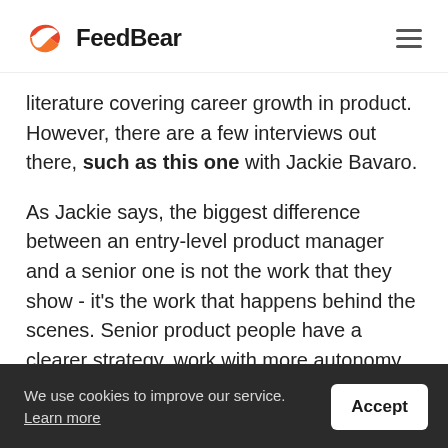FeedBear
literature covering career growth in product. However, there are a few interviews out there, such as this one with Jackie Bavaro.
As Jackie says, the biggest difference between an entry-level product manager and a senior one is not the work that they show - it’s the work that happens behind the scenes. Senior product people have a clearer strategy, work with more autonomy and they are more nuanced in their ability to make critical decisions.
We use cookies to improve our service. Learn more